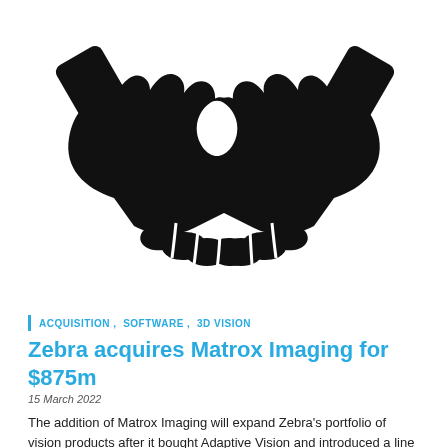[Figure (illustration): Black silhouette icon of two hands shaking in a handshake gesture on white background]
ACQUISITION , SOFTWARE , 3D VISION
Zebra acquires Matrox Imaging for $875m
15 March 2022
The addition of Matrox Imaging will expand Zebra's portfolio of vision products after it bought Adaptive Vision and introduced a line of machine vision systems